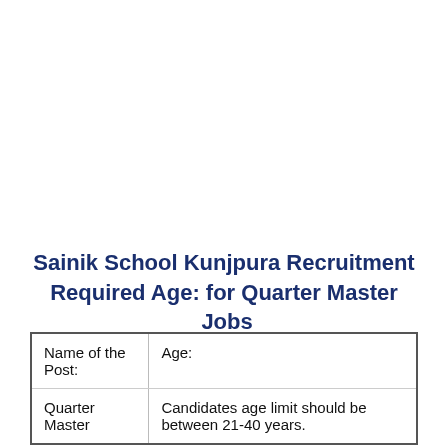Sainik School Kunjpura Recruitment Required Age: for Quarter Master Jobs
| Name of the Post: | Age: |
| --- | --- |
| Quarter Master | Candidates age limit should be between 21-40 years. |